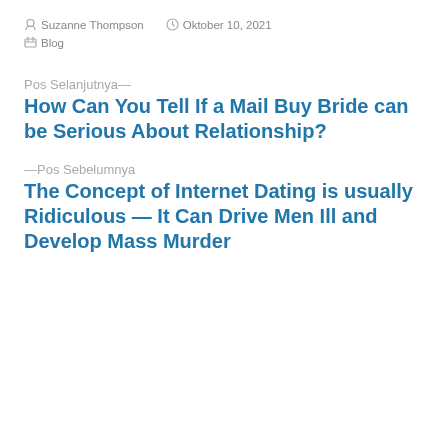Suzanne Thompson  Oktober 10, 2021  Blog
Pos Selanjutnya—
How Can You Tell If a Mail Buy Bride can be Serious About Relationship?
—Pos Sebelumnya
The Concept of Internet Dating is usually Ridiculous — It Can Drive Men Ill and Develop Mass Murder